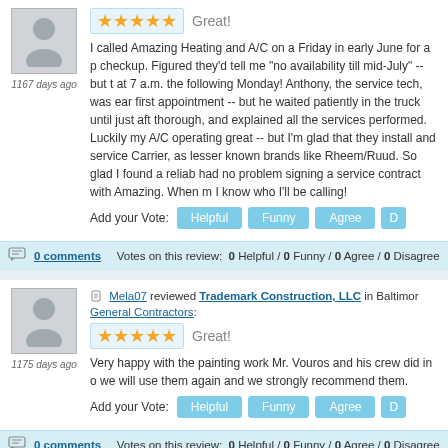[Figure (illustration): Gray avatar silhouette icon in a light gray square box]
1167 days ago
[Figure (illustration): 5 gold stars rating in light blue box followed by 'Great!' label]
I called Amazing Heating and A/C on a Friday in early June for a p checkup. Figured they'd tell me "no availability till mid-July" -- but t at 7 a.m. the following Monday! Anthony, the service tech, was ear first appointment -- but he waited patiently in the truck until just aft thorough, and explained all the services performed. Luckily my A/C operating great -- but I'm glad that they install and service Carrier, as lesser known brands like Rheem/Ruud. So glad I found a reliab had no problem signing a service contract with Amazing. When m I know who I'll be calling!
Add your Vote: Helpful  Funny  Agree  D
0 comments    Votes on this review:  0 Helpful / 0 Funny / 0 Agree / 0 Disagree
[Figure (illustration): Gray avatar silhouette icon in a light gray square box]
Mela07 reviewed Trademark Construction, LLC in Baltimor General Contractors:
1175 days ago
[Figure (illustration): 5 gold stars rating in light blue box followed by 'Great!' label]
Very happy with the painting work Mr. Vouros and his crew did in o we will use them again and we strongly recommend them.
Add your Vote: Helpful  Funny  Agree  D
0 comments    Votes on this review:  0 Helpful / 0 Funny / 0 Agree / 0 Disagree